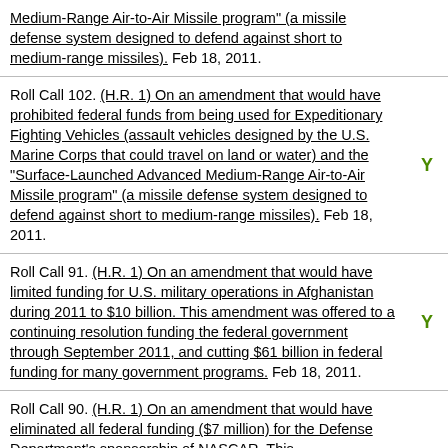Medium-Range Air-to-Air Missile program" (a missile defense system designed to defend against short to medium-range missiles). Feb 18, 2011.
Roll Call 102. (H.R. 1) On an amendment that would have prohibited federal funds from being used for Expeditionary Fighting Vehicles (assault vehicles designed by the U.S. Marine Corps that could travel on land or water) and the "Surface-Launched Advanced Medium-Range Air-to-Air Missile program" (a missile defense system designed to defend against short to medium-range missiles). Feb 18, 2011. Y
Roll Call 91. (H.R. 1) On an amendment that would have limited funding for U.S. military operations in Afghanistan during 2011 to $10 billion. This amendment was offered to a continuing resolution funding the federal government through September 2011, and cutting $61 billion in federal funding for many government programs. Feb 18, 2011. Y
Roll Call 90. (H.R. 1) On an amendment that would have eliminated all federal funding ($7 million) for the Defense Department's sponsorship of NASCAR. This